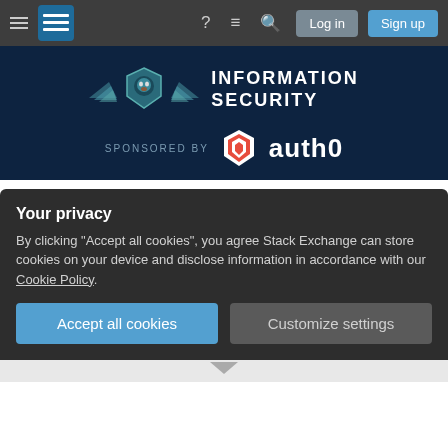Information Security Stack Exchange navigation bar with hamburger menu, logo, help, chat, search icons, Log in and Sign up buttons
[Figure (logo): Information Security Stack Exchange banner with lion shield logo and auth0 sponsor logo]
Ask Question
Is this jQuery ajax call vulnerable to XSS?
Asked 10 years, 7 months ago   Modified 10 years, 7 months ago
Your privacy
By clicking "Accept all cookies", you agree Stack Exchange can store cookies on your device and disclose information in accordance with our Cookie Policy.
Accept all cookies
Customize settings